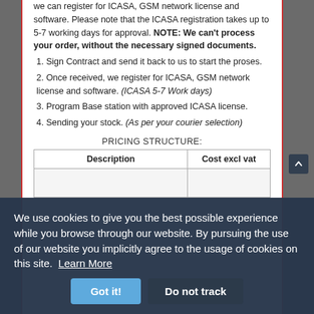we can register for ICASA, GSM network license and software. Please note that the ICASA registration takes up to 5-7 working days for approval. NOTE: We can't process your order, without the necessary signed documents.
1. Sign Contract and send it back to us to start the proses.
2. Once received, we register for ICASA, GSM network license and software. (ICASA 5-7 Work days)
3. Program Base station with approved ICASA license.
4. Sending your stock. (As per your courier selection)
PRICING STRUCTURE:
| Description | Cost excl vat |
| --- | --- |
|  |  |
We use cookies to give you the best possible experience while you browse through our website. By pursuing the use of our website you implicitly agree to the usage of cookies on this site. Learn More
Got it!  Do not track